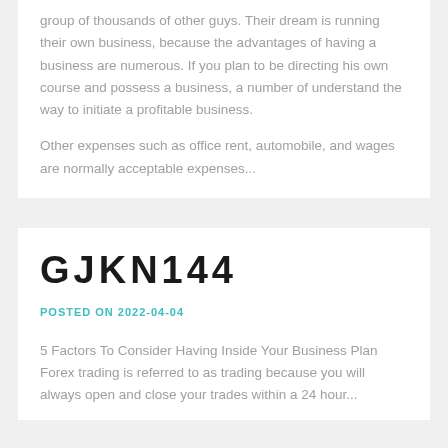group of thousands of other guys. Their dream is running their own business, because the advantages of having a business are numerous. If you plan to be directing his own course and possess a business, a number of understand the way to initiate a profitable business.
Other expenses such as office rent, automobile, and wages are normally acceptable expenses...
GJKN144
POSTED ON 2022-04-04
5 Factors To Consider Having Inside Your Business Plan Forex trading is referred to as trading because you will always open and close your trades within a 24 hour...